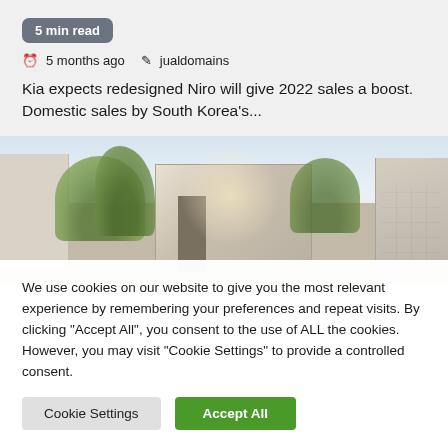5 min read
5 months ago  jualdomains
Kia expects redesigned Niro will give 2022 sales a boost. Domestic sales by South Korea's...
[Figure (photo): Architectural photo of concrete buildings with trees, sunlight glare in center]
We use cookies on our website to give you the most relevant experience by remembering your preferences and repeat visits. By clicking "Accept All", you consent to the use of ALL the cookies. However, you may visit "Cookie Settings" to provide a controlled consent.